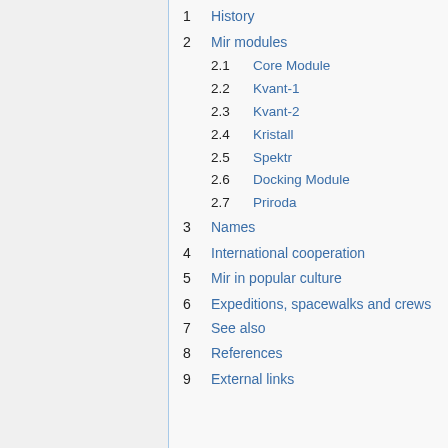1 History
2 Mir modules
2.1 Core Module
2.2 Kvant-1
2.3 Kvant-2
2.4 Kristall
2.5 Spektr
2.6 Docking Module
2.7 Priroda
3 Names
4 International cooperation
5 Mir in popular culture
6 Expeditions, spacewalks and crews
7 See also
8 References
9 External links